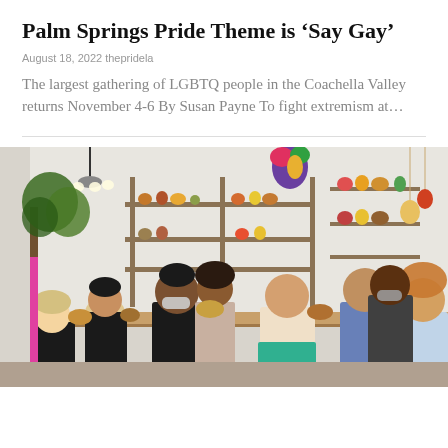Palm Springs Pride Theme is ‘Say Gay’
August 18, 2022 thepridela
The largest gathering of LGBTQ people in the Coachella Valley returns November 4-6 By Susan Payne To fight extremism at…
[Figure (photo): People gathered around long wooden tables in a bright shop filled with plants, ceramics, and colorful decorations on shelves, engaged in a craft or workshop activity. Some wearing masks.]